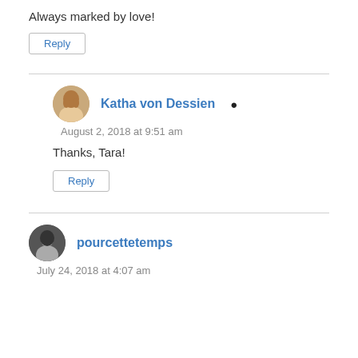Always marked by love!
Reply
Katha von Dessien
August 2, 2018 at 9:51 am
Thanks, Tara!
Reply
pourcettetemps
July 24, 2018 at 4:07 am